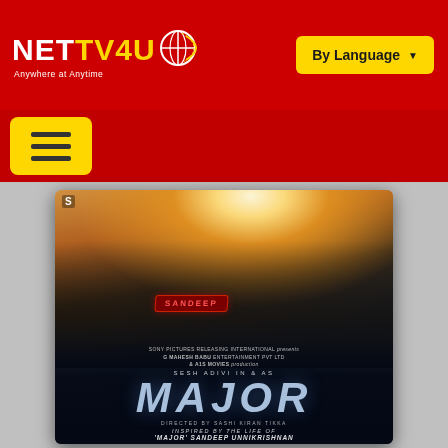[Figure (screenshot): NetTV4U website header with red background, logo on left reading NETTV4U with tagline 'Anywhere at Anytime', and a yellow 'By Language' dropdown button on the right]
[Figure (screenshot): Red navigation bar with yellow hamburger menu button on the left]
[Figure (photo): Movie poster for MAJOR - a Telugu/Hindi film starring Adivi Sesh. Poster shows a military/paramilitary figure from behind with dramatic sunburst lighting. Text reads: SONY PICTURES RELEASING INTERNATIONAL presents G MAHESH BABU ENTERTAINMENT PVT LTD & A1S MOVIES production, SESH ADIVI IN & AS, MAJOR, DIRECTED BY SASHI KIRAN TIKKA, INSPIRED BY THE LIFE OF 'MAJOR' SANDEEP UNNIKRISHNAN]